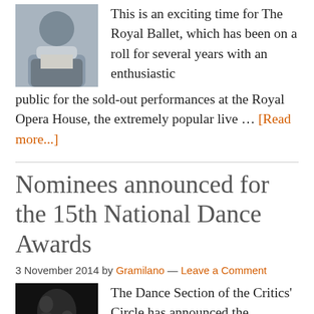[Figure (photo): Headshot of a man in a suit jacket, cropped at the top of the image]
This is an exciting time for The Royal Ballet, which has been on a roll for several years with an enthusiastic public for the sold-out performances at the Royal Opera House, the extremely popular live … [Read more...]
Nominees announced for the 15th National Dance Awards
3 November 2014 by Gramilano — Leave a Comment
[Figure (photo): Black and white photo of ballet dancers performing on stage]
The Dance Section of the Critics' Circle has announced the nominations for the 15th National Dance Awards. The